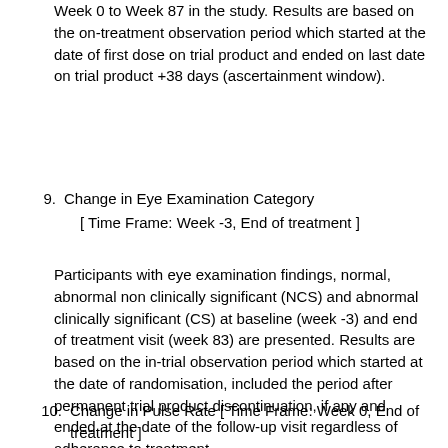Week 0 to Week 87 in the study. Results are based on the on-treatment observation period which started at the date of first dose on trial product and ended on last date on trial product +38 days (ascertainment window).
9. Change in Eye Examination Category [ Time Frame: Week -3, End of treatment ]
Participants with eye examination findings, normal, abnormal non clinically significant (NCS) and abnormal clinically significant (CS) at baseline (week -3) and end of treatment visit (week 83) are presented. Results are based on the in-trial observation period which started at the date of randomisation, included the period after permanent trial product discontinuation, if any and ended at the date of the follow-up visit regardless of adherence to treatment.
10. Change in Pulse Rate [ Time Frame: Week 0, End of treatment ]